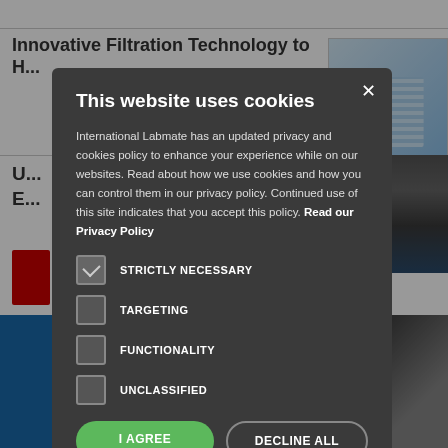[Figure (screenshot): Background webpage showing 'Innovative Filtration Technology to H...' article with lab images on the right side, a blue bottom banner, and red buttons on the left.]
This website uses cookies
International Labmate has an updated privacy and cookies policy to enhance your experience while on our websites. Read about how we use cookies and how you can control them in our privacy policy. Continued use of this site indicates that you accept this policy. Read our Privacy Policy
STRICTLY NECESSARY
TARGETING
FUNCTIONALITY
UNCLASSIFIED
I AGREE
DECLINE ALL
SHOW DETAILS